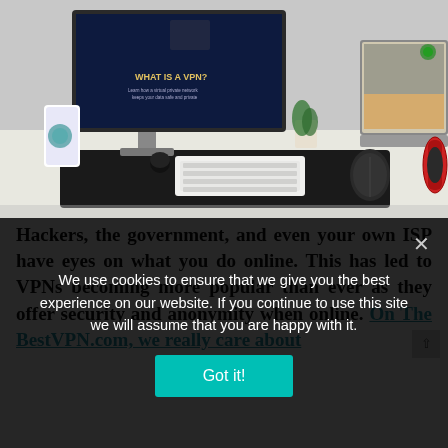[Figure (photo): Photo of a desk setup with multiple monitors showing VPN-related content, a keyboard, mouse, plant, headphones, and a smartphone with a VPN app]
Hackers, the government, and even your own ISP have eyes on what you do online. This has led to VPNs becoming more popular than ever as they offer security and anonymity when online. On The BestVPN.com, we really care about
We use cookies to ensure that we give you the best experience on our website. If you continue to use this site we will assume that you are happy with it.